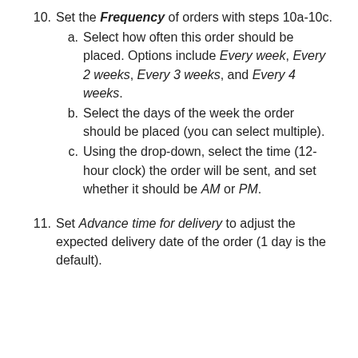10. Set the Frequency of orders with steps 10a-10c.
a. Select how often this order should be placed. Options include Every week, Every 2 weeks, Every 3 weeks, and Every 4 weeks.
b. Select the days of the week the order should be placed (you can select multiple).
c. Using the drop-down, select the time (12-hour clock) the order will be sent, and set whether it should be AM or PM.
11. Set Advance time for delivery to adjust the expected delivery date of the order (1 day is the default).